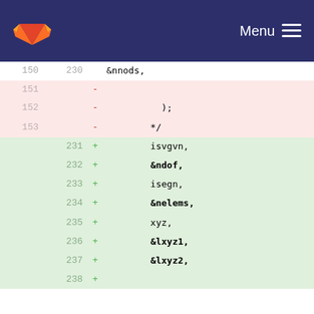GitLab — Menu
| old_line | new_line | op | code |
| --- | --- | --- | --- |
| 150 | 230 |  | &nnods, |
| 151 |  | - |  |
| 152 |  | - |           ); |
| 153 |  | - |         */ |
|  | 231 | + |         isvgvn, |
|  | 232 | + |         &ndof, |
|  | 233 | + |         isegn, |
|  | 234 | + |         &nelems, |
|  | 235 | + |         xyz, |
|  | 236 | + |         &lxyz1, |
|  | 237 | + |         &lxyz2, |
|  | 238 | + |  |